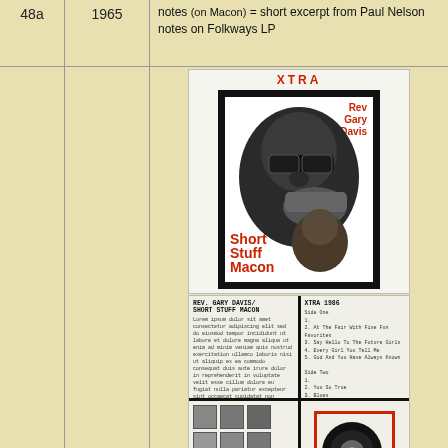notes (on Macon) = short excerpt from Paul Nelson notes on Folkways LP
48a
1965
[Figure (photo): Album cover and back cover of 'Rev. Gary Davis / Short Stuff Macon' on XTRA label (1965). Front shows two faces in black and white photo with red text. Back shows liner notes, track listing, and record label photo.]
[Figure (infographic): Social media icons row: home button (green circle), Facebook (blue), Twitter (blue), YouTube (red), Pinterest (red), eBay logo (multicolor)]
Big Joe Williams discography (latest date of editing: 03/19/20221)
© responsible for contents: Stefan Wirz
00592502
counting 'American Music' since 12/08/2019